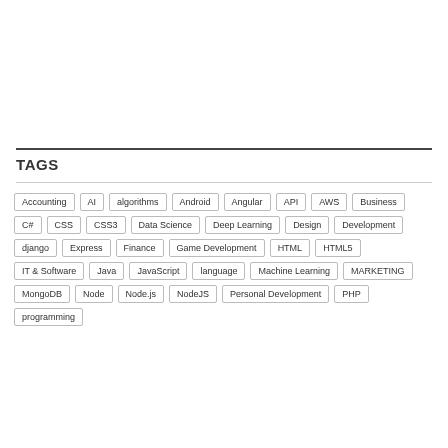TAGS
Accounting | AI | algorithms | Android | Angular | API | AWS | Business | C# | CSS | CSS3 | Data Science | Deep Learning | Design | Development | django | Express | Finance | Game Development | HTML | HTML5 | IT & Software | Java | JavaScript | language | Machine Learning | MARKETING | MongoDB | Node | Node.js | NodeJS | Personal Development | PHP | programming